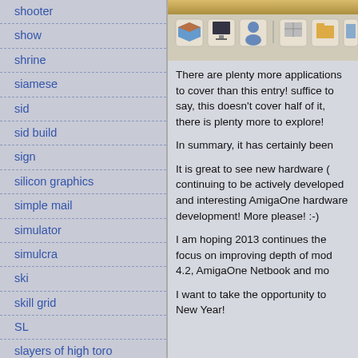shooter
show
shrine
siamese
sid
sid build
sign
silicon graphics
simple mail
simulator
simulcra
ski
skill grid
SL
slayers of high toro
slim cdrom
slim dvd drive
smarty and the nasty gluttons
[Figure (screenshot): Screenshot of an AmigaOS taskbar/dock with application icons]
There are plenty more applications to cover than this entry! suffice to say, this doesn't cover half of it, there is plenty more to explore!
In summary, it has certainly been
It is great to see new hardware ( continuing to be actively developed and interesting AmigaOne hardware development! More please! :-)
I am hoping 2013 continues the focus on improving depth of most 4.2, AmigaOne Netbook and mo
I want to take the opportunity to New Year!